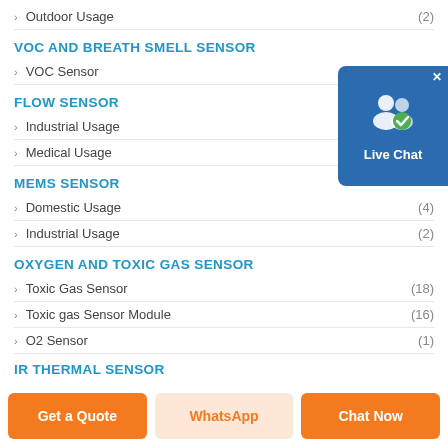> Outdoor Usage (2)
VOC AND BREATH SMELL SENSOR
> VOC Sensor
FLOW SENSOR
> Industrial Usage (4)
> Medical Usage (1)
MEMS SENSOR
> Domestic Usage (4)
> Industrial Usage (2)
OXYGEN AND TOXIC GAS SENSOR
> Toxic Gas Sensor (18)
> Toxic gas Sensor Module (16)
> O2 Sensor (1)
IR THERMAL SENSOR
[Figure (screenshot): Live Chat widget — blue box with people icon and 'Live Chat' label]
Get a Quote | WhatsApp | Chat Now